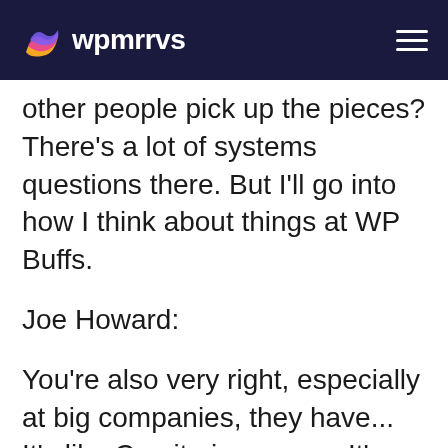wpmrrvs
other people pick up the pieces? There's a lot of systems questions there. But I'll go into how I think about things at WP Buffs.
Joe Howard:
You're also very right, especially at big companies, they have... It's like C-suite insurance. It's literally an insurance you can go get, and it's pretty fucking expensive. Like,